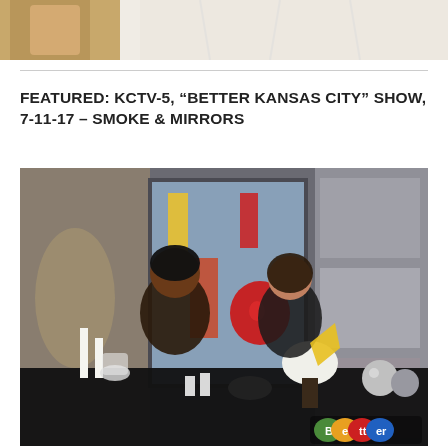[Figure (photo): Partial top image showing a wooden object and white fabric/curtain background]
FEATURED: KCTV-5, “BETTER KANSAS CITY” SHOW, 7-11-17 – SMOKE & MIRRORS
[Figure (photo): Two women standing behind a table covered with a black tablecloth displaying decorative items including candles, vases, flowers, and mirrored accessories on a TV studio set with brick wall background and Better Kansas City logo in the bottom right corner]